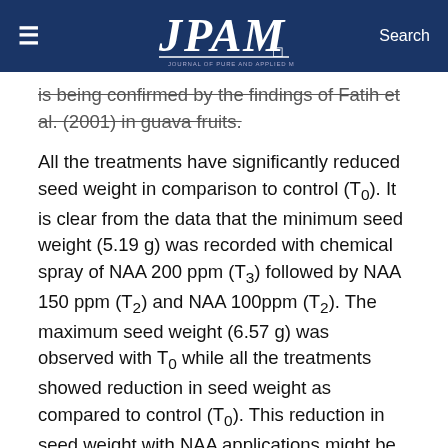≡  JPAM  Search
is being confirmed by the findings of Fatih et al. (2001) in guava fruits.
All the treatments have significantly reduced seed weight in comparison to control (T0). It is clear from the data that the minimum seed weight (5.19 g) was recorded with chemical spray of NAA 200 ppm (T3) followed by NAA 150 ppm (T2) and NAA 100ppm (T2). The maximum seed weight (6.57 g) was observed with T0 while all the treatments showed reduction in seed weight as compared to control (T0). This reduction in seed weight with NAA applications might be due to reduction in number of healthy seeds especially at higher NAA concentrations.The outcomes of